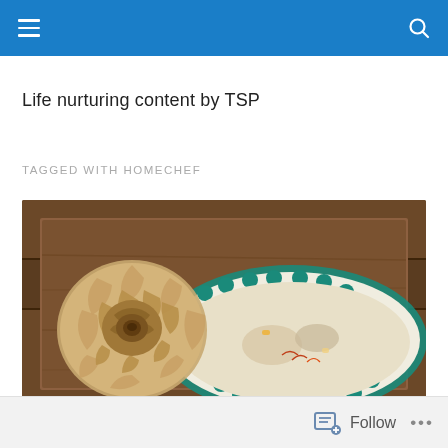Life nurturing content by TSP
TAGGED WITH HOMECHEF
[Figure (photo): A ceramic dish with scalloped teal rim containing a creamy light-colored dish with visible garnishes including saffron strands, placed on a wooden tray next to a decorative dried rose flower made of petals, photographed from above.]
Follow ...